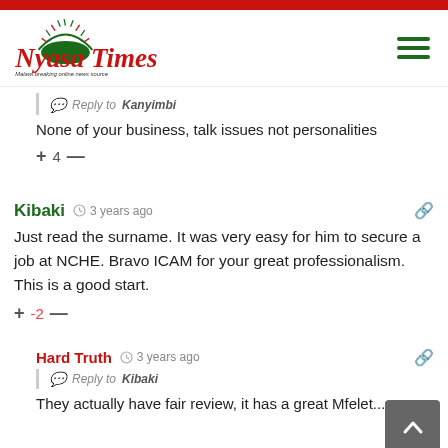[Figure (logo): Nyasa Times logo with sun/arch graphic and tagline 'Malawi breaking online news source']
Reply to Kanyimbi
None of your business, talk issues not personalities
+ 4 —
Kibaki · 3 years ago
Just read the surname. It was very easy for him to secure a job at NCHE. Bravo ICAM for your great professionalism. This is a good start.
+ -2 —
Hard Truth · 3 years ago
Reply to Kibaki
They actually have fair review, it has a great Mfelet...